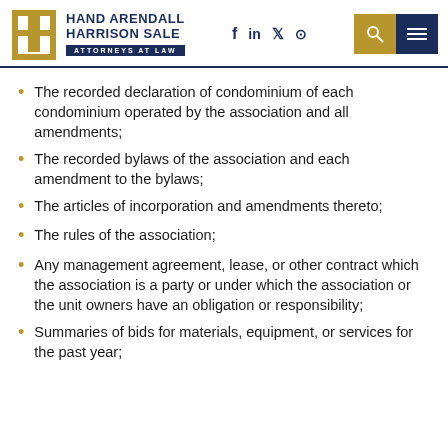Hand Arendall Harrison Sale — Attorneys at Law
The recorded declaration of condominium of each condominium operated by the association and all amendments;
The recorded bylaws of the association and each amendment to the bylaws;
The articles of incorporation and amendments thereto;
The rules of the association;
Any management agreement, lease, or other contract which the association is a party or under which the association or the unit owners have an obligation or responsibility;
Summaries of bids for materials, equipment, or services for the past year;